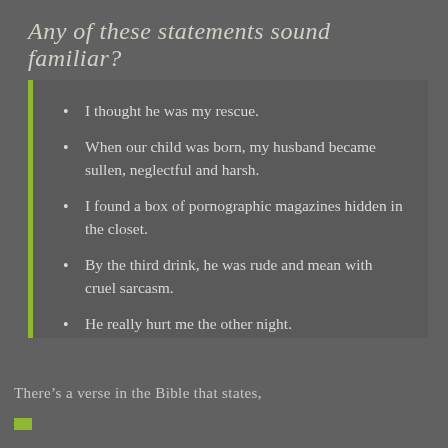Any of these statements sound familiar?
I thought he was my rescue.
When our child was born, my husband became sullen, neglectful and harsh.
I found a box of pornographic magazines hidden in the closet.
By the third drink, he was rude and mean with cruel sarcasm.
He really hurt me the other night.
There’s a verse in the Bible that states,